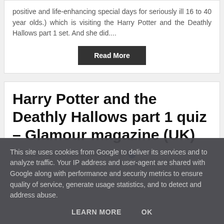positive and life-enhancing special days for seriously ill 16 to 40 year olds.) which is visiting the Harry Potter and the Deathly Hallows part 1 set. And she did....
Read More
Harry Potter and the Deathly Hallows part 1 quiz – Glamour magazine (UK)
Marion  18 November 2010
This site uses cookies from Google to deliver its services and to analyze traffic. Your IP address and user-agent are shared with Google along with performance and security metrics to ensure quality of service, generate usage statistics, and to detect and address abuse.
LEARN MORE   OK